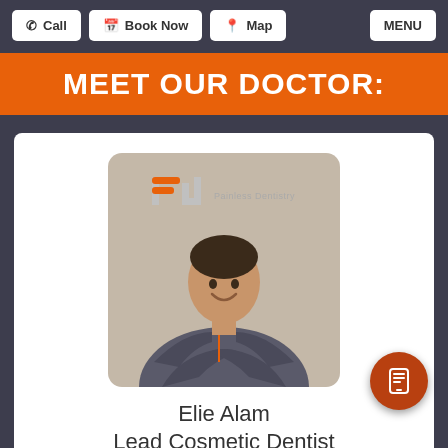Call | Book Now | Map | MENU
MEET OUR DOCTOR:
[Figure (photo): Photo of Dr. Elie Alam, a male dentist in gray scrubs with arms crossed, smiling. The Painless Dentistry logo appears at the top of the image.]
Elie Alam
Lead Cosmetic Dentist